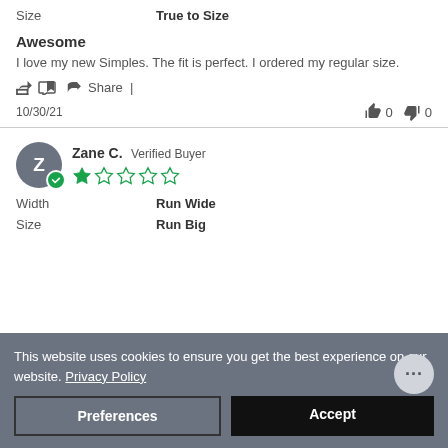Size   True to Size
Awesome
I love my new Simples. The fit is perfect. I ordered my regular size.
Share |
10/30/21   👍 0   👎 0
Zane C.  Verified Buyer — 2 stars
Width   Run Wide
Size   Run Big
This website uses cookies to ensure you get the best experience on our website. Privacy Policy
Preferences
Accept